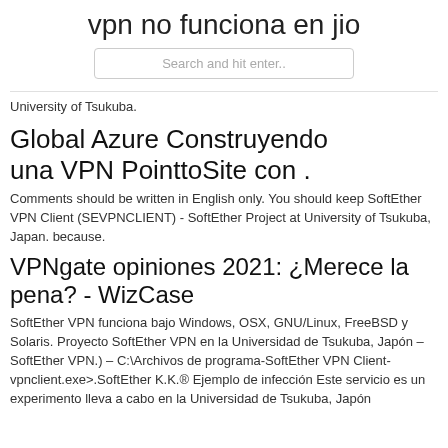vpn no funciona en jio
Search and hit enter..
University of Tsukuba.
Global Azure Construyendo una VPN PointtoSite con .
Comments should be written in English only. You should keep SoftEther VPN Client (SEVPNCLIENT) - SoftEther Project at University of Tsukuba, Japan. because.
VPNgate opiniones 2021: ¿Merece la pena? - WizCase
SoftEther VPN funciona bajo Windows, OSX, GNU/Linux, FreeBSD y Solaris. Proyecto SoftEther VPN en la Universidad de Tsukuba, Japón – SoftEther VPN.) – C:\Archivos de programa-SoftEther VPN Client-vpnclient.exe>.SoftEther K.K.® Ejemplo de infección Este servicio es un experimento lleva a cabo en la Universidad de Tsukuba, Japón